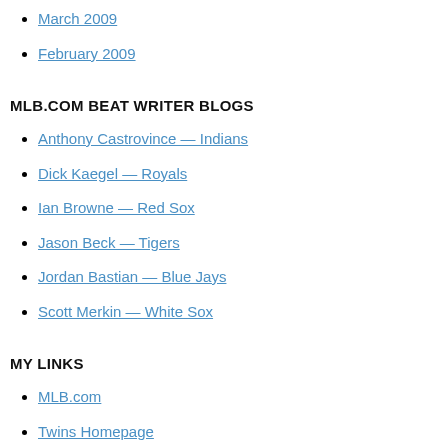March 2009
February 2009
MLB.COM BEAT WRITER BLOGS
Anthony Castrovince — Indians
Dick Kaegel — Royals
Ian Browne — Red Sox
Jason Beck — Tigers
Jordan Bastian — Blue Jays
Scott Merkin — White Sox
MY LINKS
MLB.com
Twins Homepage
CATEGORIES